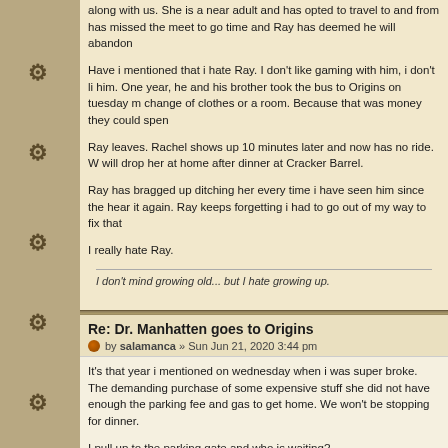along with us. She is a near adult and has opted to travel to and from has missed the meet to go time and Ray has deemed he will abandon
Have i mentioned that i hate Ray. I don't like gaming with him, i don't like him. One year, he and his brother took the bus to Origins on tuesday m change of clothes or a room. Because that was money they could spe
Ray leaves. Rachel shows up 10 minutes later and now has no ride. W will drop her at home after dinner at Cracker Barrel.
Ray has bragged up ditching her every time i have seen him since the hear it again. Ray keeps forgetting i had to go out of my way to fix that
I really hate Ray.
I don't mind growing old... but I hate growing up.
Re: Dr. Manhatten goes to Origins
by salamanca » Sun Jun 21, 2020 3:44 pm
It's that year i mentioned on wednesday when i was super broke. The demanding purchase of some expensive stuff she did not have enough the parking fee and gas to get home. We won't be stopping for dinner.
I pull up to the parking gate and who is waiting?